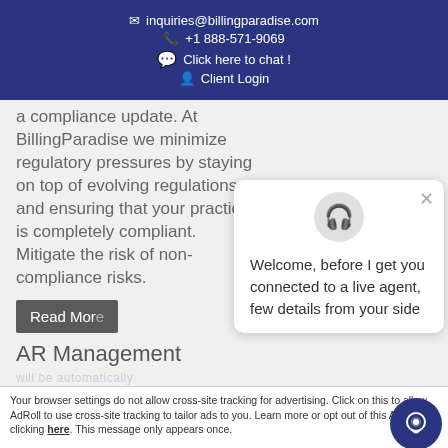inquiries@billingparadise.com | +1 888-571-9069 | Click here to chat ! | Client Login
a compliance update. At BillingParadise we minimize regulatory pressures by staying on top of evolving regulations and ensuring that your practice is completely compliant. Mitigate the risk of non-compliance risks.
Welcome, before I get you connected to a live agent, few details from your side
Read Mor...
AR Management
Accept and×
Your browser settings do not allow cross-site tracking for advertising. Click on this to allow AdRoll to use cross-site tracking to tailor ads to you. Learn more or opt out of this Ag by clicking here. This message only appears once.